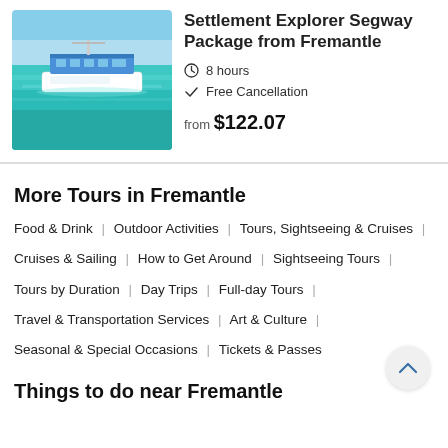[Figure (photo): A blue and white catamaran/ferry boat on turquoise clear water, aerial or side view, blue sky above.]
Settlement Explorer Segway Package from Fremantle
8 hours
Free Cancellation
from $122.07
More Tours in Fremantle
Food & Drink | Outdoor Activities | Tours, Sightseeing & Cruises |
Cruises & Sailing | How to Get Around | Sightseeing Tours |
Tours by Duration | Day Trips | Full-day Tours |
Travel & Transportation Services | Art & Culture |
Seasonal & Special Occasions | Tickets & Passes
Things to do near Fremantle